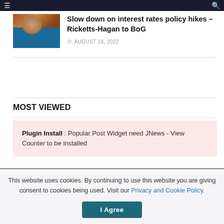Navigation bar with menu and search icons
[Figure (photo): Thumbnail photo of a person (Ricketts-Hagan) at a press event]
Slow down on interest rates policy hikes – Ricketts-Hagan to BoG
AUGUST 18, 2022
MOST VIEWED
Plugin Install : Popular Post Widget need JNews - View Counter to be installed
This website uses cookies. By continuing to use this website you are giving consent to cookies being used. Visit our Privacy and Cookie Policy.
I Agree